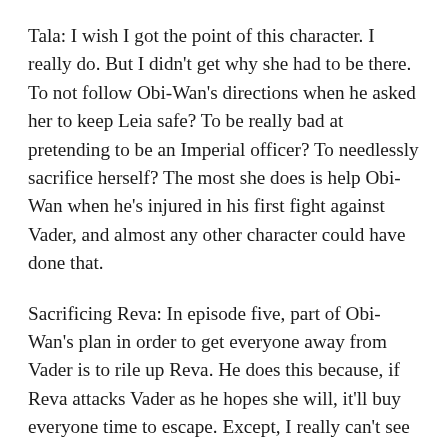Tala: I wish I got the point of this character. I really do. But I didn't get why she had to be there. To not follow Obi-Wan's directions when he asked her to keep Leia safe? To be really bad at pretending to be an Imperial officer? To needlessly sacrifice herself? The most she does is help Obi-Wan when he's injured in his first fight against Vader, and almost any other character could have done that.
Sacrificing Reva: In episode five, part of Obi-Wan's plan in order to get everyone away from Vader is to rile up Reva. He does this because, if Reva attacks Vader as he hopes she will, it'll buy everyone time to escape. Except, I really can't see Obi-Wan thinking that convincing Reva to fight Vader would be a moral solution to their problem. Obi-Wan knows Vader's more powerful than her. On top of that, as much as he fears Anakin, he still sees his old